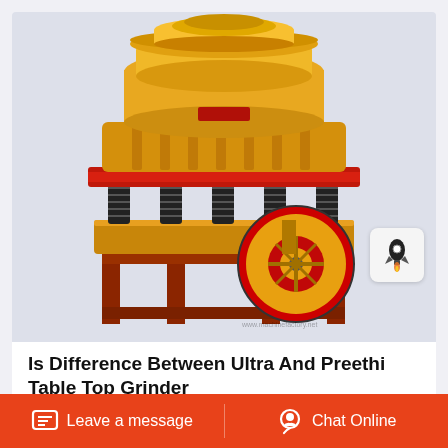[Figure (photo): Yellow and red industrial cone crusher machine with black coil springs and a large red-rimmed flywheel, on a metal frame stand, white background]
Is Difference Between Ultra And Preethi Table Top Grinder
Leave a message   Chat Online